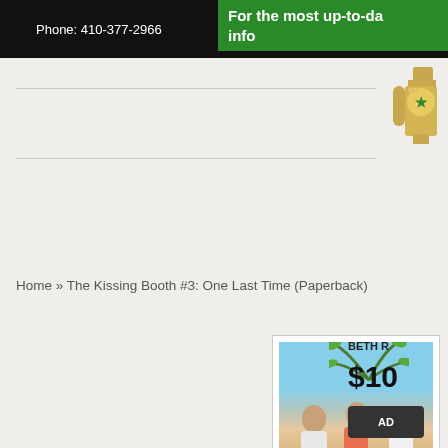Phone: 410-377-2966
For the most up-to-da... info...
Home » The Kissing Booth #3: One Last Time (Paperback)
[Figure (photo): Book cover of The Kissing Booth #3 showing three teenagers with a summer beach background and yellow title text]
BETH R
$10
AD